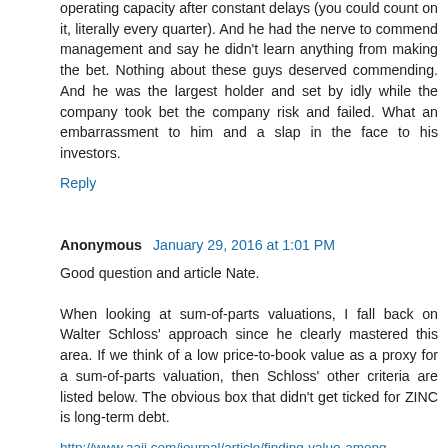operating capacity after constant delays (you could count on it, literally every quarter). And he had the nerve to commend management and say he didn't learn anything from making the bet. Nothing about these guys deserved commending. And he was the largest holder and set by idly while the company took bet the company risk and failed. What an embarrassment to him and a slap in the face to his investors.
Reply
Anonymous  January 29, 2016 at 1:01 PM
Good question and article Nate.
When looking at sum-of-parts valuations, I fall back on Walter Schloss' approach since he clearly mastered this area. If we think of a low price-to-book value as a proxy for a sum-of-parts valuation, then Schloss' other criteria are listed below. The obvious box that didn't get ticked for ZINC is long-term debt.
http://www.aaii.com/journal/article/finding-value-among-